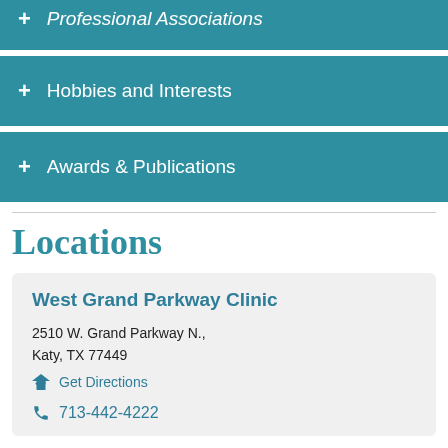Professional Associations
Hobbies and Interests
Awards & Publications
Locations
West Grand Parkway Clinic
2510 W. Grand Parkway N., Katy, TX 77449
Get Directions
713-442-4222